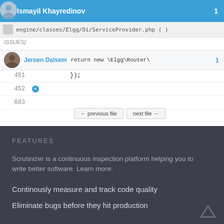Ismayil Khayredinov  1
engine/classes/Elgg/Di/ServiceProvider.php ( )
ISSUES)
Jeroen Dalsem  1  return new \Elgg\Router\
451   });
452
683
← previous file   next file →
FEATURES
Scrutinizer is a continuous inspection platform helping you to write better software. Learn more:
Continously measure and track code quality
Eliminate bugs before they hit production